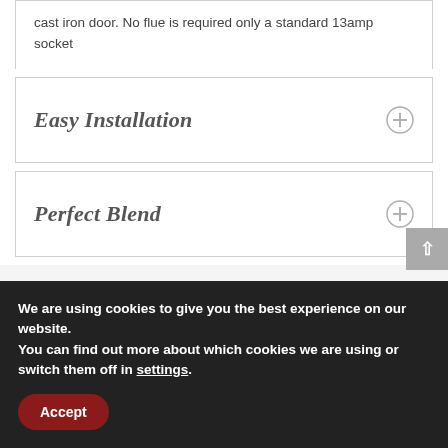cast iron door. No flue is required only a standard 13amp socket
Easy Installation
Perfect Blend
We are using cookies to give you the best experience on our website.
You can find out more about which cookies we are using or switch them off in settings.
Accept